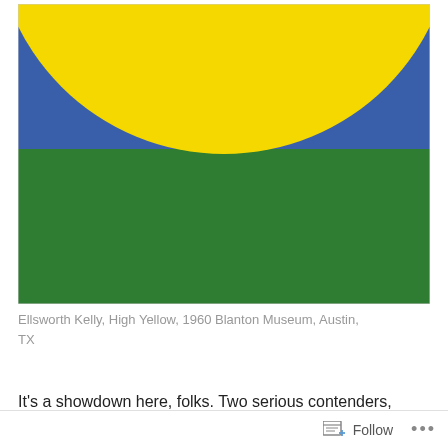[Figure (illustration): Ellsworth Kelly painting 'High Yellow' (1960): abstract painting with a large yellow circle partially visible at the top against a blue background, and the lower portion is a solid green rectangle. The painting is shown cropped so only the lower arc of the yellow circle is visible.]
Ellsworth Kelly, High Yellow, 1960 Blanton Museum, Austin, TX
It's a showdown here, folks. Two serious contenders,
Follow ...